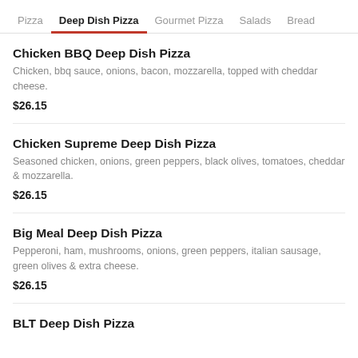Pizza  Deep Dish Pizza  Gourmet Pizza  Salads  Bread
Chicken BBQ Deep Dish Pizza
Chicken, bbq sauce, onions, bacon, mozzarella, topped with cheddar cheese.
$26.15
Chicken Supreme Deep Dish Pizza
Seasoned chicken, onions, green peppers, black olives, tomatoes, cheddar & mozzarella.
$26.15
Big Meal Deep Dish Pizza
Pepperoni, ham, mushrooms, onions, green peppers, italian sausage, green olives & extra cheese.
$26.15
BLT Deep Dish Pizza